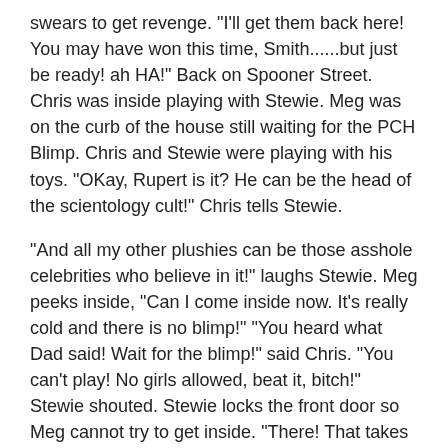swears to get revenge. "I'll get them back here! You may have won this time, Smith......but just be ready! ah HA!" Back on Spooner Street. Chris was inside playing with Stewie. Meg was on the curb of the house still waiting for the PCH Blimp. Chris and Stewie were playing with his toys. "OKay, Rupert is it? He can be the head of the scientology cult!" Chris tells Stewie.
"And all my other plushies can be those asshole celebrities who believe in it!" laughs Stewie. Meg peeks inside, "Can I come inside now. It's really cold and there is no blimp!" "You heard what Dad said! Wait for the blimp!" said Chris. "You can't play! No girls allowed, beat it, bitch!" Stewie shouted. Stewie locks the front door so Meg cannot try to get inside. "There! That takes care of that then!"
An hour later into the Super Bowl, Stan's party was very